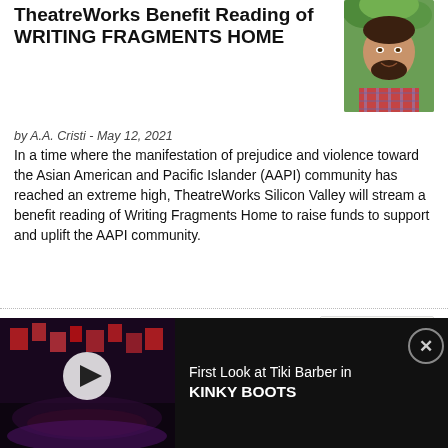TheatreWorks Benefit Reading of WRITING FRAGMENTS HOME
by A.A. Cristi - May 12, 2021
[Figure (photo): Headshot photo of a man with dark hair and beard, wearing a plaid shirt, outdoors with green foliage background]
In a time where the manifestation of prejudice and violence toward the Asian American and Pacific Islander (AAPI) community has reached an extreme high, TheatreWorks Silicon Valley will stream a benefit reading of Writing Fragments Home to raise funds to support and uplift the AAPI community.
TCG Gala to Feature Performances from CAMBODIAN ROCK BAND and Market Theatre
by Stephi Wild - May 11, 2021
[Figure (photo): TCG Gala 2021 promotional image featuring 'FOUR' text with circular design, subtitle 'Celebrating 60 Years of...']
Theatre Communications Group (TCG), the national organization for theatre, is pleased
[Figure (screenshot): Ad banner showing a dark stage production still with colorful lights (Kinky Boots) with a play button overlay. Text reads: First Look at Tiki Barber in KINKY BOOTS]